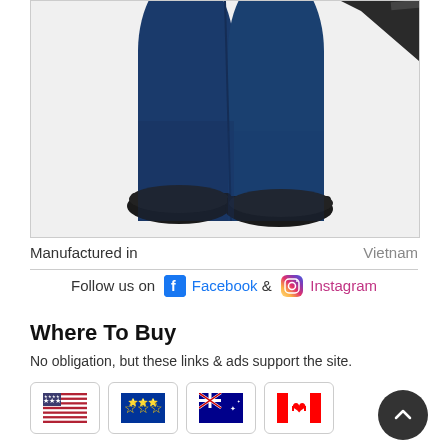[Figure (photo): Lower half of a person wearing dark blue jeans and black shoes, holding a dark triangular/angular object, white background]
Manufactured in	Vietnam
Follow us on Facebook & Instagram
Where To Buy
No obligation, but these links & ads support the site.
[Figure (other): Row of country flag icons: USA, EU, Australia, Canada]